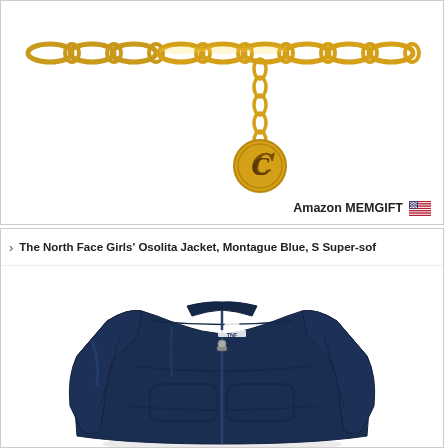[Figure (photo): Gold chain necklace/bracelet with a decorative Gothic letter 'C' charm pendant, shown on white background. The chain is a figaro-style gold chain.]
Amazon MEMGIFT 🇺🇸
> The North Face Girls' Osolita Jacket, Montague Blue, S Super-sof
[Figure (photo): The North Face Girls' Osolita Jacket in Montague Blue (navy), shown laid flat. The jacket features a full zip, fleece-like texture with seam detailing, two hand pockets, and The North Face logo on the chest.]